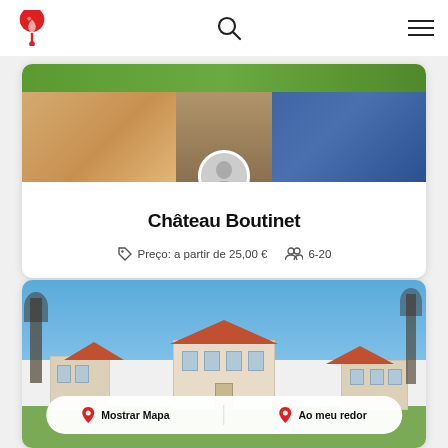Château Boutinet app header with logo, search, and menu icons
[Figure (photo): Photo of people drinking wine outdoors with a circular avatar/profile image overlaid at the bottom center]
Château Boutinet
Preço: a partir de 25,00 €    6-20
[Figure (photo): Photo of a French château building with blue sky and trees, with a white pill-shaped bar at the bottom showing 'Mostrar Mapa' and 'Ao meu redor' buttons]